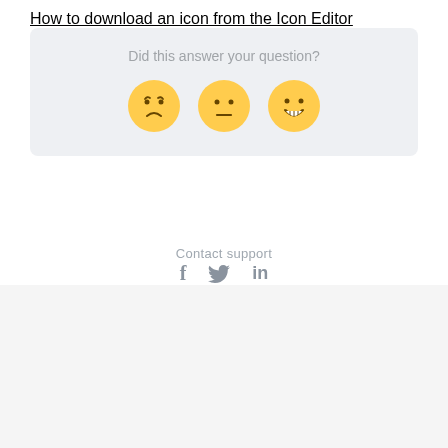How to download an icon from the Icon Editor
[Figure (infographic): Feedback widget with question 'Did this answer your question?' and three emoji faces: sad, neutral, happy]
Contact support
[Figure (infographic): Social media icons: Facebook (f), Twitter (bird), LinkedIn (in)]